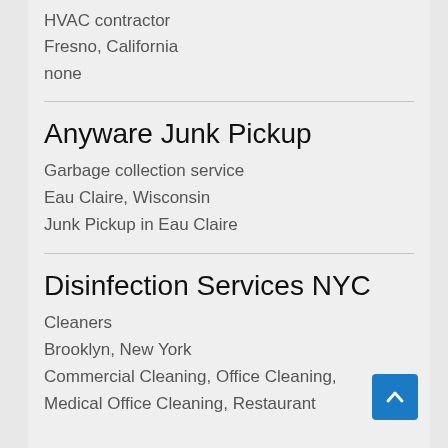HVAC contractor
Fresno, California
none
Anyware Junk Pickup
Garbage collection service
Eau Claire, Wisconsin
Junk Pickup in Eau Claire
Disinfection Services NYC
Cleaners
Brooklyn, New York
Commercial Cleaning, Office Cleaning, Medical Office Cleaning, Restaurant